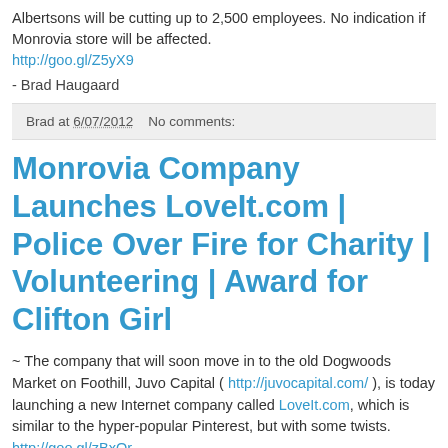Albertsons will be cutting up to 2,500 employees. No indication if Monrovia store will be affected. http://goo.gl/Z5yX9
- Brad Haugaard
Brad at 6/07/2012    No comments:
Monrovia Company Launches LoveIt.com | Police Over Fire for Charity | Volunteering | Award for Clifton Girl
~ The company that will soon move in to the old Dogwoods Market on Foothill, Juvo Capital ( http://juvocapital.com/ ), is today launching a new Internet company called LoveIt.com, which is similar to the hyper-popular Pinterest, but with some twists. http://goo.gl/zBxOr